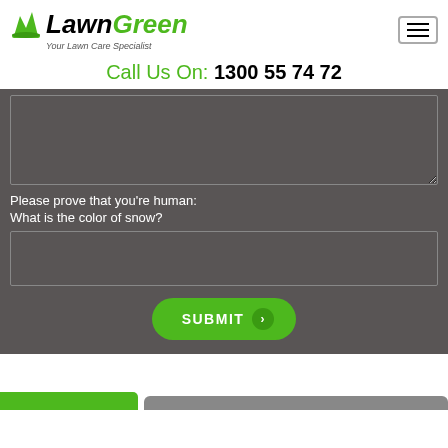[Figure (logo): LawnGreen logo with grass icon and tagline 'Your Lawn Care Specialist']
Call Us On: 1300 55 74 72
Please prove that you're human:
What is the color of snow?
SUBMIT